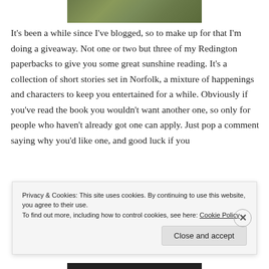[Figure (photo): Top partial photo showing ground/earth with grass and dirt, cut off at top]
It's been a while since I've blogged, so to make up for that I'm doing a giveaway. Not one or two but three of my Redington paperbacks to give you some great sunshine reading. It's a collection of short stories set in Norfolk, a mixture of happenings and characters to keep you entertained for a while. Obviously if you've read the book you wouldn't want another one, so only for people who haven't already got one can apply. Just pop a comment saying why you'd like one, and good luck if you
[Figure (photo): Partial photo of a book cover showing 'REDINGTON' in large bold text]
Privacy & Cookies: This site uses cookies. By continuing to use this website, you agree to their use.
To find out more, including how to control cookies, see here: Cookie Policy
Close and accept